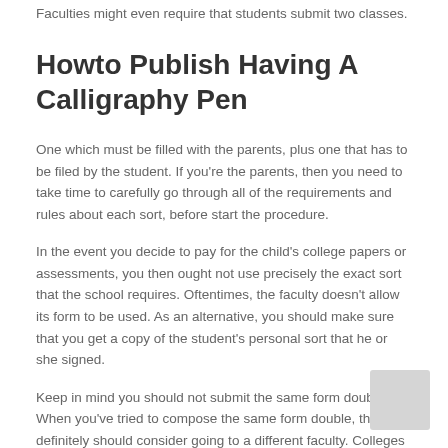Faculties might even require that students submit two classes.
Howto Publish Having A Calligraphy Pen
One which must be filled with the parents, plus one that has to be filed by the student. If you're the parents, then you need to take time to carefully go through all of the requirements and rules about each sort, before start the procedure.
In the event you decide to pay for the child's college papers or assessments, you then ought not use precisely the exact sort that the school requires. Oftentimes, the faculty doesn't allow its form to be used. As an alternative, you should make sure that you get a copy of the student's personal sort that he or she signed.
Keep in mind you should not submit the same form double. When you've tried to compose the same form double, then you definitely should consider going to a different faculty. Colleges and universities tend not to accept exactly the very same forms, so it is probably that you will need to begin all over again. For all parents, this is often a tricky choice.
A wonderful way to start out in filling out school forms is with a